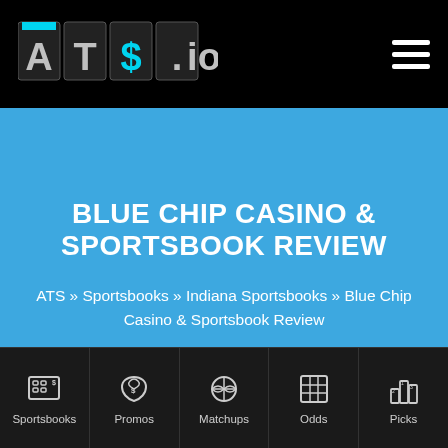ATS.io
BLUE CHIP CASINO & SPORTSBOOK REVIEW
ATS » Sportsbooks » Indiana Sportsbooks » Blue Chip Casino & Sportsbook Review
The Blue Chip Casino is a riverboat and land-based casino
Sportsbooks | Promos | Matchups | Odds | Picks